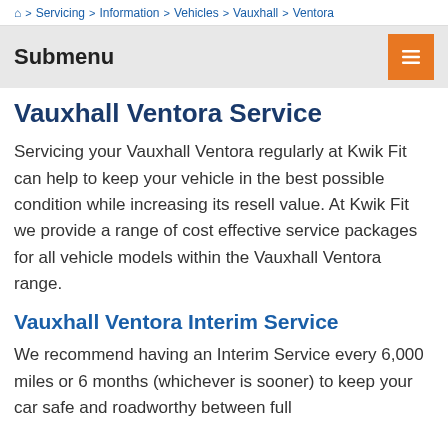🏠 > Servicing > Information > Vehicles > Vauxhall > Ventora
Submenu
Vauxhall Ventora Service
Servicing your Vauxhall Ventora regularly at Kwik Fit can help to keep your vehicle in the best possible condition while increasing its resell value. At Kwik Fit we provide a range of cost effective service packages for all vehicle models within the Vauxhall Ventora range.
Vauxhall Ventora Interim Service
We recommend having an Interim Service every 6,000 miles or 6 months (whichever is sooner) to keep your car safe and roadworthy between full services. Our Interim Service includes a total of f...